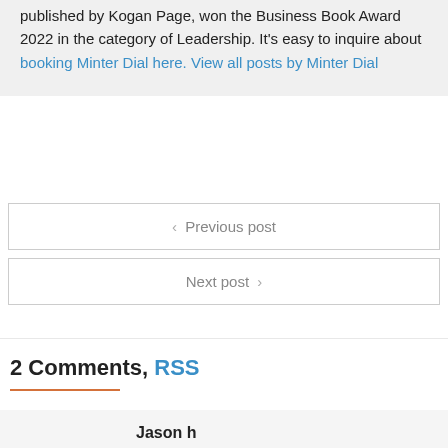published by Kogan Page, won the Business Book Award 2022 in the category of Leadership. It's easy to inquire about booking Minter Dial here. View all posts by Minter Dial
Previous post
Next post
2 Comments, RSS
Jason h
July 18, 2007 at 5:41 pm